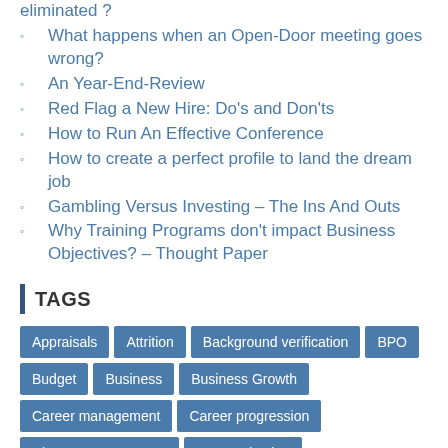eliminated ?
What happens when an Open-Door meeting goes wrong?
An Year-End-Review
Red Flag a New Hire: Do's and Don'ts
How to Run An Effective Conference
How to create a perfect profile to land the dream job
Gambling Versus Investing – The Ins And Outs
Why Training Programs don't impact Business Objectives? – Thought Paper
TAGS
Appraisals  Attrition  Background verification  BPO  Budget  Business  Business Growth  Career management  Career progression  Change management  communication  compensation and benefit  culture  decision making